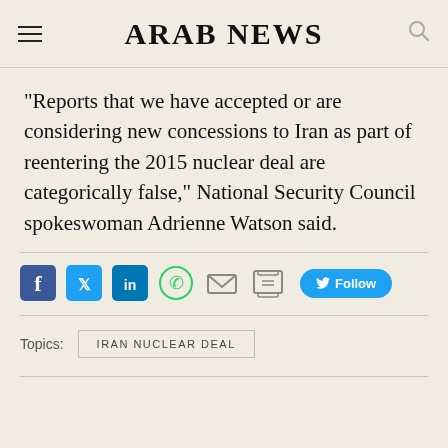ARAB NEWS
“Reports that we have accepted or are considering new concessions to Iran as part of reentering the 2015 nuclear deal are categorically false,” National Security Council spokeswoman Adrienne Watson said.
Topics: IRAN NUCLEAR DEAL